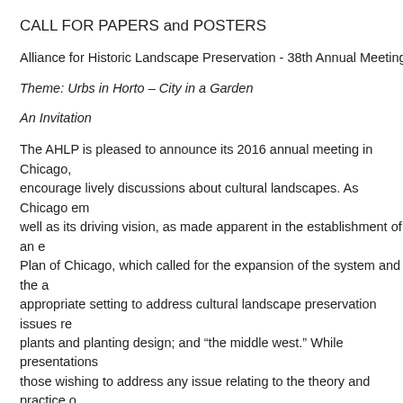CALL FOR PAPERS and POSTERS
Alliance for Historic Landscape Preservation - 38th Annual Meeting Chi...
Theme: Urbs in Horto – City in a Garden
An Invitation
The AHLP is pleased to announce its 2016 annual meeting in Chicago, ... encourage lively discussions about cultural landscapes. As Chicago em... well as its driving vision, as made apparent in the establishment of an e... Plan of Chicago, which called for the expansion of the system and the a... appropriate setting to address cultural landscape preservation issues re... plants and planting design; and "the middle west." While presentations ... those wishing to address any issue relating to the theory and practice o...
Proposals are invited within three (3) categories of presentations:
Papers: 25-30 minute papers addressing issues in landscape pres... practice, or education
Summaries of Works-in-Progress: 10-15 min. discussions of on-go...